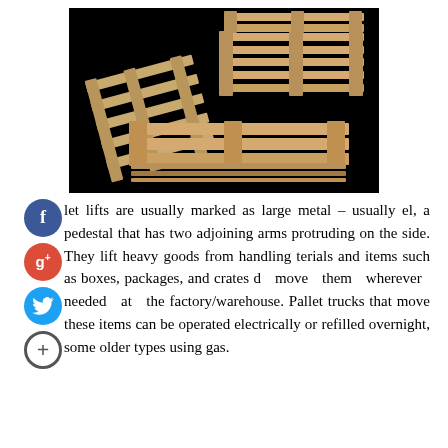[Figure (photo): Stack of wooden pallets arranged against a black background]
let lifts are usually marked as large metal – usually el, a pedestal that has two adjoining arms protruding on the side. They lift heavy goods from handling terials and items such as boxes, packages, and crates d move them wherever needed at the factory/warehouse. Pallet trucks that move these items can be operated electrically or refilled overnight, some older types using gas.